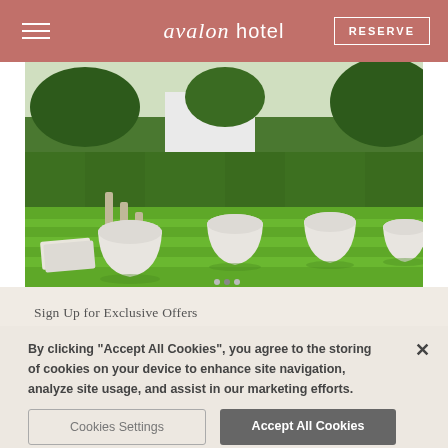avalon hotel | RESERVE
[Figure (photo): Outdoor garden area of Avalon Hotel showing manicured green lawn, large white planter pots, trimmed hedges, and cornhole game boards on a sunny day.]
Sign Up for Exclusive Offers
By clicking “Accept All Cookies”, you agree to the storing of cookies on your device to enhance site navigation, analyze site usage, and assist in our marketing efforts.
Cookies Settings
Accept All Cookies